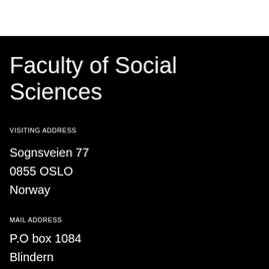Faculty of Social Sciences
VISITING ADDRESS
Sognsveien 77
0855 OSLO
Norway
MAIL ADDRESS
P.O box 1084
Blindern